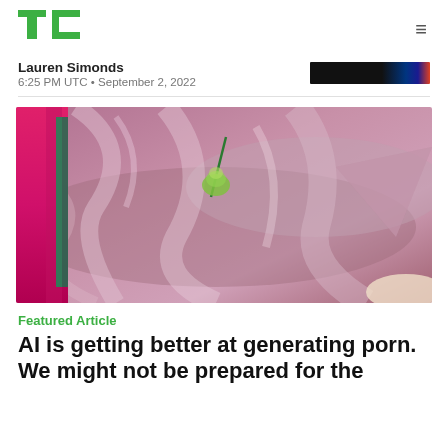TechCrunch logo and navigation
Lauren Simonds
6:25 PM UTC • September 2, 2022
[Figure (photo): Close-up photo of shiny pink/mauve satin fabric draped in folds, with a green rose stem resting on top; bright magenta/red fabric visible on the left side.]
Featured Article
AI is getting better at generating porn. We might not be prepared for the